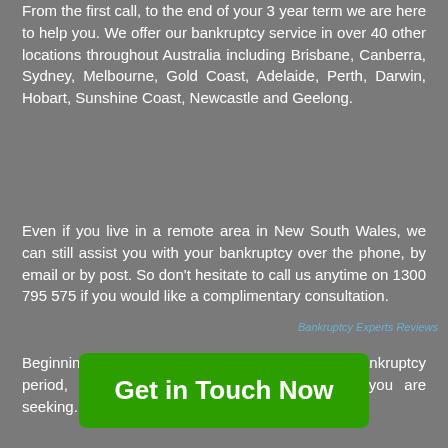From the first call, to the end of your 3 year term we are here to help you. We offer our bankruptcy service in over 40 other locations throughout Australia including Brisbane, Canberra, Sydney, Melbourne, Gold Coast, Adelaide, Perth, Darwin, Hobart, Sunshine Coast, Newcastle and Geelong.
Even if you live in a remote area in New South Wales, we can still assist you with your bankruptcy over the phone, by email or by post. So don’t hesitate to call us anytime on 1300 795 575 if you would like a complimentary consultation.
Beginning at just $495 for the entire three-year bankruptcy period, we have the total bankruptcy service you are seeking.
Bankruptcy Experts Reviews
Get in Touch Now